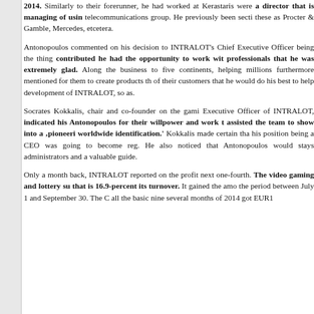2014. Similarly to their forerunner, he had worked at Kerastaris were a director that is managing of using telecommunications group. He previously been section these as Procter & Gamble, Mercedes, etcetera.
Antonopoulos commented on his decision to INTRALOT's Chief Executive Officer being the thing contributed he had the opportunity to work with professionals that he was extremely glad. Along the business to five continents, helping millions furthermore mentioned for them to create products of their customers that he would do his best to help development of INTRALOT, so as.
Socrates Kokkalis, chair and co-founder on the gami Executive Officer of INTRALOT, indicated his Antonopoulos for their willpower and work assisted the team to show into a 'pioneering worldwide identification.' Kokkalis made certain that his position being a CEO was going to become reg. He also noticed that Antonopoulos would stays administrators and a valuable guide.
Only a month back, INTRALOT reported on the profits next one-fourth. The video gaming and lottery sup that is 16.9-percent its turnover. It gained the amo the period between July 1 and September 30. The C all the basic nine several months of 2014 got EUR1